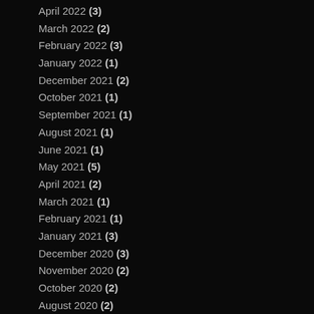April 2022 (3)
March 2022 (2)
February 2022 (3)
January 2022 (1)
December 2021 (2)
October 2021 (1)
September 2021 (1)
August 2021 (1)
June 2021 (1)
May 2021 (5)
April 2021 (2)
March 2021 (1)
February 2021 (1)
January 2021 (3)
December 2020 (3)
November 2020 (2)
October 2020 (2)
August 2020 (2)
July 2020 (2)
June 2020 (2)
May 2020 (6)
April 2020 (3)
March 2020 (5)
February 2020 (2)